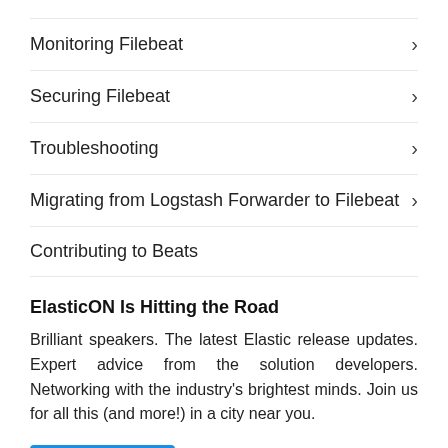Monitoring Filebeat
Securing Filebeat
Troubleshooting
Migrating from Logstash Forwarder to Filebeat
Contributing to Beats
ElasticON Is Hitting the Road
Brilliant speakers. The latest Elastic release updates. Expert advice from the solution developers. Networking with the industry's brightest minds. Join us for all this (and more!) in a city near you.
[Figure (other): Blue button partially visible at bottom of page]